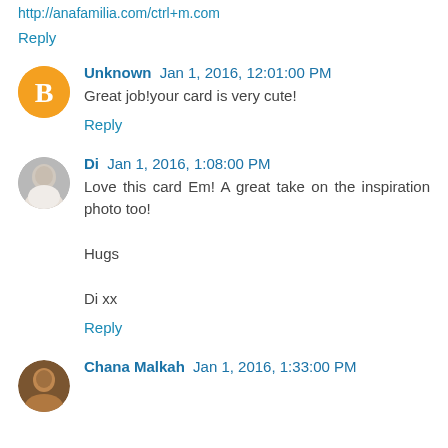http://anafamilia.com/ctrl+m.com
Reply
Unknown Jan 1, 2016, 12:01:00 PM
Great job!your card is very cute!
Reply
Di Jan 1, 2016, 1:08:00 PM
Love this card Em! A great take on the inspiration photo too!

Hugs

Di xx
Reply
Chana Malkah Jan 1, 2016, 1:33:00 PM